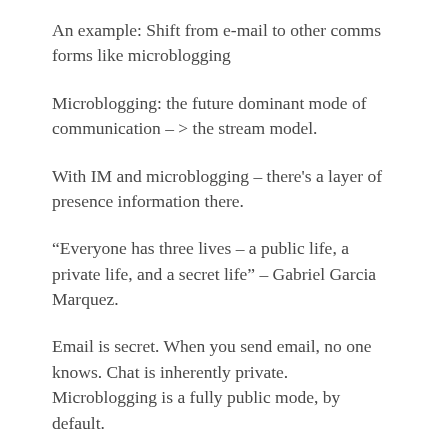An example: Shift from e-mail to other comms forms like microblogging
Microblogging: the future dominant mode of communication – > the stream model.
With IM and microblogging – there's a layer of presence information there.
“Everyone has three lives – a public life, a private life, and a secret life” – Gabriel Garcia Marquez.
Email is secret. When you send email, no one knows. Chat is inherently private. Microblogging is a fully public mode, by default.